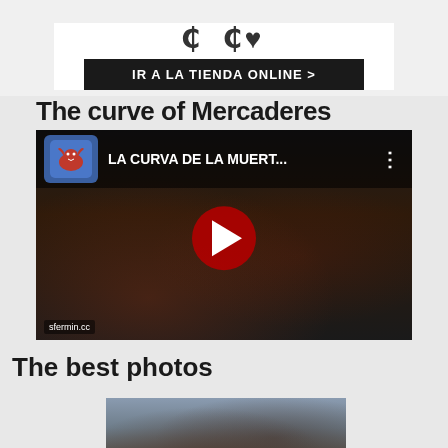[Figure (screenshot): Advertisement banner with stylized text/symbols above a black button reading 'IR A LA TIENDA ONLINE >']
The curve of Mercaderes
[Figure (screenshot): YouTube video thumbnail showing a bull run (encierro) scene with crowd, titled 'LA CURVA DE LA MUERT...' with a red play button in the center]
The best photos
[Figure (photo): Partial photo showing people and a bull during what appears to be a bull running event (San Fermín)]